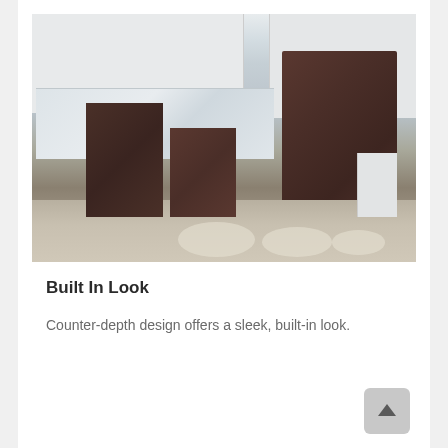[Figure (photo): Kitchen scene showing dark brown/tuscan stainless appliances (refrigerator, range, dishwasher) against white cabinetry with marble backsplash and wood-look flooring.]
Built In Look
Counter-depth design offers a sleek, built-in look.